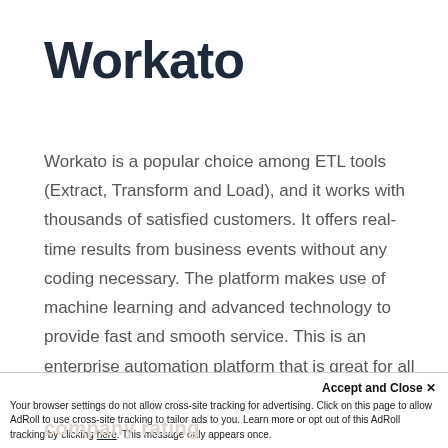Workato
Workato is a popular choice among ETL tools (Extract, Transform and Load), and it works with thousands of satisfied customers. It offers real-time results from business events without any coding necessary. The platform makes use of machine learning and advanced technology to provide fast and smooth service. This is an enterprise automation platform that is great for all kinds of companies, from SaaS startups to IT teams and E-commerce businesses.
Accept and Close ×
Your browser settings do not allow cross-site tracking for advertising. Click on this page to allow AdRoll to use cross-site tracking to tailor ads to you. Learn more or opt out of this AdRoll tracking by clicking here. This message only appears once.